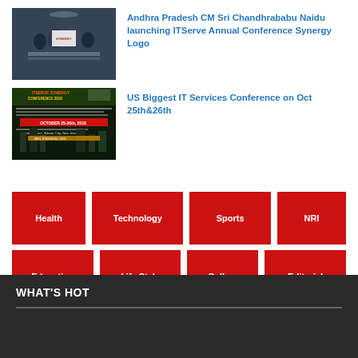[Figure (photo): People around a table, one person holding a Synergy ITServe logo banner]
Andhra Pradesh CM Sri Chandhrababu Naidu launching ITServe Annual Conference Synergy Logo
[Figure (photo): ITServe Synergy Conference 2019 promotional banner with city skyline]
US Biggest IT Services Conference on Oct 25th&26th
Health
Technology
Sports
NRI
Education
Life Style
Gallery
Editorial
WHAT'S HOT